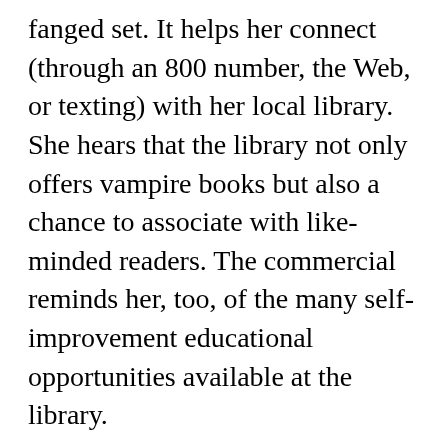fanged set. It helps her connect (through an 800 number, the Web, or texting) with her local library. She hears that the library not only offers vampire books but also a chance to associate with like-minded readers. The commercial reminds her, too, of the many self-improvement educational opportunities available at the library.
If libraries depend simply on existing funding sources, such outreach undertakings will never happen on the scale they should. Same for other endeavors such as vastly expanded aid for minorities,